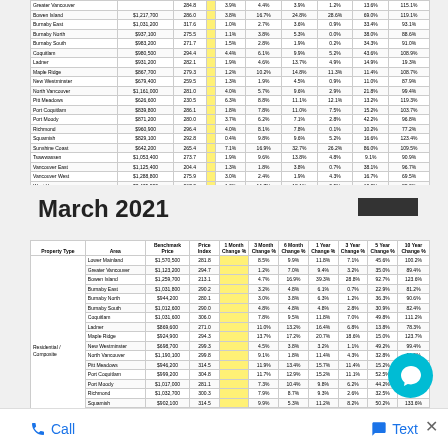| Property Type | Area | Benchmark Price | Price Index | 1 Month Change % | 3 Month Change % | 6 Month Change % | 1 Year Change % | 3 Year Change % | 5 Year Change % | 10 Year Change % |
| --- | --- | --- | --- | --- | --- | --- | --- | --- | --- | --- |
|  | Greater Vancouver |  | 284.8 |  | 3.9% | 4.4% | 3.9% | 1.2% | 13.6% | 115.1% |
|  | Bowen Island | $1,217,700 | 286.0 |  | 3.8% | 16.7% | 24.8% | 28.6% | 69.0% | 119.1% |
|  | Burnaby East | $1,031,200 | 317.6 |  | 1.0% | 2.7% | 3.6% | 0.9% | 33.4% | 93.1% |
|  | Burnaby North | $937,100 | 275.5 |  | 1.1% | 3.8% | 5.3% | 0.0% | 38.0% | 88.6% |
|  | Burnaby South | $983,200 | 271.7 |  | 1.5% | 2.8% | 1.9% | 0.2% | 34.3% | 91.0% |
|  | Coquitlam | $980,500 | 294.4 |  | 4.4% | 6.1% | 9.9% | 5.2% | 43.6% | 108.9% |
|  | Ladner | $931,200 | 282.1 |  | 1.9% | 4.6% | 13.7% | 4.9% | 14.9% | 19.3% |
|  | Maple Ridge | $867,700 | 279.3 |  | 1.2% | 10.2% | 14.8% | 11.3% | 11.4% | 108.7% |
|  | New Westminster | $679,400 | 259.5 |  | 1.3% | 1.9% | 4.5% | 0.9% | 11.0% | 87.9% |
|  | North Vancouver | $1,161,000 | 281.0 |  | 4.0% | 5.7% | 9.6% | 2.9% | 21.8% | 99.4% |
|  | Pitt Meadows | $626,600 | 230.5 |  | 6.3% | 8.8% | 11.1% | 12.1% | 13.2% | 119.3% |
|  | Port Coquitlam | $839,800 | 286.1 |  | 1.8% | 7.8% | 11.0% | 7.5% | 15.2% | 103.7% |
|  | Port Moody | $871,200 | 280.0 |  | 3.7% | 6.2% | 7.1% | 2.8% | 42.2% | 96.8% |
|  | Richmond | $960,900 | 296.4 |  | 4.0% | 8.1% | 7.8% | 0.1% | 10.2% | 77.2% |
|  | Squamish | $829,100 | 292.8 |  | 0.4% | 9.8% | 9.6% | 5.2% | 16.6% | 123.4% |
|  | Sunshine Coast | $642,200 | 265.4 |  | 7.1% | 16.9% | 32.7% | 26.2% | 86.0% | 109.5% |
|  | Tsawwassen | $1,053,400 | 273.7 |  | 1.9% | 9.6% | 13.8% | 4.8% | 9.1% | 90.9% |
|  | Vancouver East | $1,125,400 | 204.4 |  | 1.3% | 1.8% | 3.8% | 0.7% | 38.1% | 96.7% |
|  | Vancouver West | $1,288,800 | 275.9 |  | 3.0% | 2.4% | 1.9% | 4.3% | 16.7% | 69.5% |
|  | West Vancouver | $2,439,800 | 267.2 |  | 1.3% | 11.7% | 18.1% | 0.9% | 10.0% | 88.2% |
|  | Whistler | $997,000 | 232.4 |  | 3.2% | 7.8% | 8.0% | 10.0% | 86.7% | 108.1% |
March 2021
| Property Type | Area | Benchmark Price | Price Index | 1 Month Change % | 3 Month Change % | 6 Month Change % | 1 Year Change % | 3 Year Change % | 5 Year Change % | 10 Year Change % |
| --- | --- | --- | --- | --- | --- | --- | --- | --- | --- | --- |
| Residential / Composite | Lower Mainland | $1,570,500 | 281.8 |  | 8.5% | 9.9% | 11.8% | 7.1% | 45.6% | 100.2% |
|  | Greater Vancouver | $1,123,200 | 294.7 |  | 1.2% | 7.0% | 9.4% | 3.2% | 35.0% | 89.4% |
|  | Bowen Island | $1,259,700 | 213.1 |  | 4.7% | 16.9% | 39.3% | 28.8% | 92.7% | 123.6% |
|  | Burnaby East | $1,031,800 | 290.2 |  | 3.2% | 4.8% | 6.1% | 0.7% | 22.9% | 81.2% |
|  | Burnaby North | $944,200 | 280.1 |  | 3.0% | 3.8% | 6.3% | 1.2% | 36.3% | 90.6% |
|  | Burnaby South | $1,012,600 | 290.0 |  | 4.8% | 4.8% | 4.8% | 2.8% | 30.9% | 82.4% |
|  | Coquitlam | $1,031,600 | 306.0 |  | 7.8% | 9.5% | 11.8% | 7.0% | 49.8% | 111.2% |
|  | Ladner | $869,600 | 271.0 |  | 11.0% | 13.2% | 16.4% | 6.8% | 13.8% | 78.3% |
|  | Maple Ridge | $924,900 | 294.3 |  | 13.7% | 17.2% | 20.7% | 18.6% | 15.0% | 123.7% |
|  | New Westminster | $698,700 | 299.3 |  | 4.5% | 3.8% | 3.2% | 1.1% | 49.2% | 99.4% |
|  | North Vancouver | $1,190,100 | 299.8 |  | 9.1% | 1.8% | 11.4% | 4.3% | 32.8% | 91.9% |
|  | Pitt Meadows | $946,200 | 314.5 |  | 11.9% | 13.4% | 15.7% | 11.4% | 15.2% | 120.1% |
|  | Port Coquitlam | $999,200 | 304.8 |  | 11.7% | 12.9% | 15.2% | 11.1% | 52.5% | 112.9% |
|  | Port Moody | $1,017,000 | 281.1 |  | 7.3% | 10.4% | 9.8% | 6.2% | 44.2% | 107.6% |
|  | Richmond | $1,032,700 | 300.3 |  | 7.9% | 8.7% | 9.3% | 2.6% | 32.5% | 79.8% |
|  | Squamish | $902,100 | 314.5 |  | 9.9% | 5.3% | 11.2% | 8.2% | 50.2% | 133.6% |
|  | Sunshine Coast | $771,500 | 270.3 |  | 9.6% | 17.9% | 34.7% | 35.5% | 66.8% | 113.4% |
|  | Tsawwassen | $1,086,900 | 281.7 |  | 8.3% | 11.7% | 16.8% | 8.1% | 8.3% | 99.3% |
|  | Vancouver East | $1,176,900 | 349.1 |  | 3.6% | 6.2% | 7.3% | 1.6% | 30.7% | 100.2% |
|  | Vancouver West | $1,332,900 | 299.7 |  | 6.5% | 6.7% | 3.2% | 3.0% | 17.9% | 99.2% |